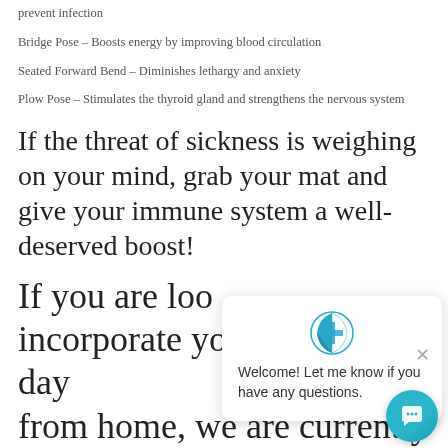prevent infection
Bridge Pose – Boosts energy by improving blood circulation
Seated Forward Bend – Diminishes lethargy and anxiety
Plow Pose – Stimulates the thyroid gland and strengthens the nervous system
If the threat of sickness is weighing on your mind, grab your mat and give your immune system a well-deserved boost!
If you are loo… incorporate yoga into your day from home, we are currently offering 30 free days of Holy